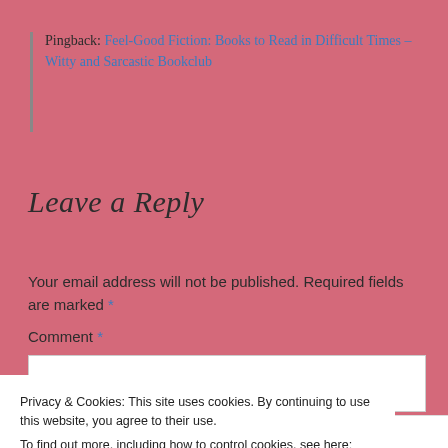Pingback: Feel-Good Fiction: Books to Read in Difficult Times – Witty and Sarcastic Bookclub
Leave a Reply
Your email address will not be published. Required fields are marked *
Comment *
Privacy & Cookies: This site uses cookies. By continuing to use this website, you agree to their use.
To find out more, including how to control cookies, see here: Cookie Policy
Close and accept
Advertisements